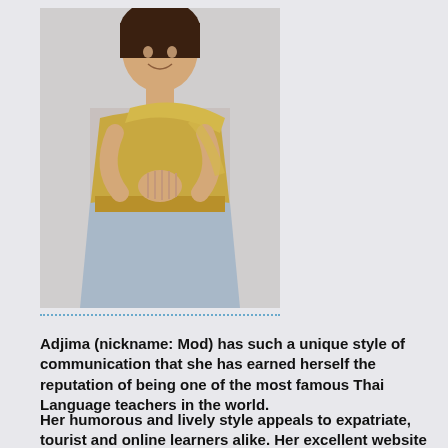[Figure (photo): Young woman in traditional Thai costume (golden top with blue skirt) performing a wai greeting gesture, smiling, against a light background.]
Adjima (nickname: Mod) has such a unique style of communication that she has earned herself the reputation of being one of the most famous Thai Language teachers in the world.
Her humorous and lively style appeals to expatriate, tourist and online learners alike. Her excellent website